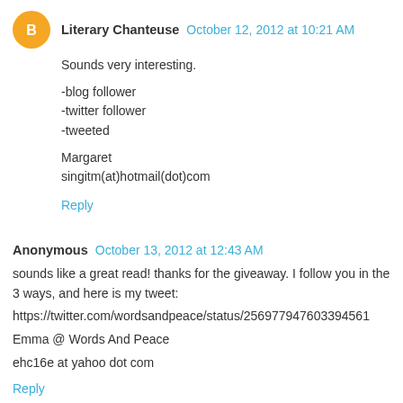Literary Chanteuse  October 12, 2012 at 10:21 AM
Sounds very interesting.

-blog follower
-twitter follower
-tweeted

Margaret
singitm(at)hotmail(dot)com
Reply
Anonymous  October 13, 2012 at 12:43 AM
sounds like a great read! thanks for the giveaway. I follow you in the 3 ways, and here is my tweet:
https://twitter.com/wordsandpeace/status/256977947603394561
Emma @ Words And Peace
ehc16e at yahoo dot com
Reply